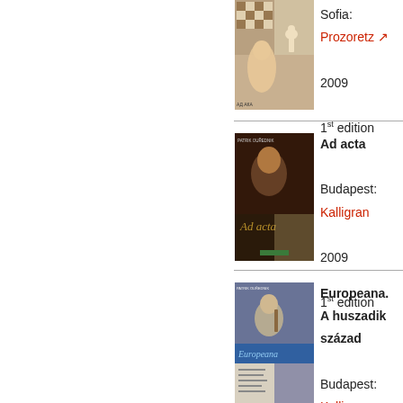[Figure (illustration): Book cover of a chess-themed book showing a person with chess pieces]
Sofia: Prozoretz
2009
1st edition
[Figure (illustration): Book cover of 'Ad acta' by Patrik Ourednik]
Ad acta
Budapest: Kalligram
2009
1st edition
[Figure (illustration): Book cover of 'Europeana']
Europeana. A huszadik század
Budapest: Kalligram
2009
3rd edition